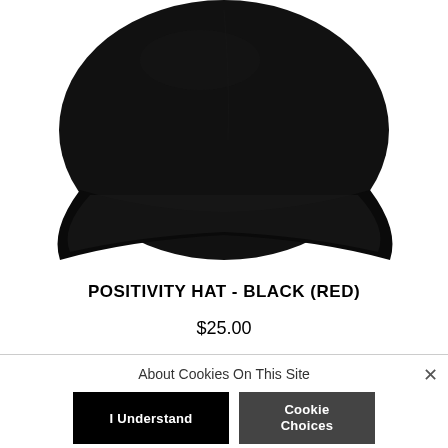[Figure (photo): A black baseball/dad cap photographed from above on a white background, showing the top and brim of the hat.]
POSITIVITY HAT - BLACK (RED)
$25.00
About Cookies On This Site
I Understand
Cookie Choices